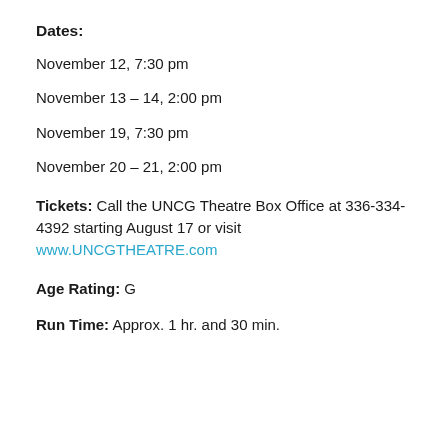Dates:
November 12, 7:30 pm
November 13 – 14, 2:00 pm
November 19, 7:30 pm
November 20 – 21, 2:00 pm
Tickets: Call the UNCG Theatre Box Office at 336-334-4392 starting August 17 or visit www.UNCGTHEATRE.com
Age Rating: G
Run Time: Approx. 1 hr. and 30 min.